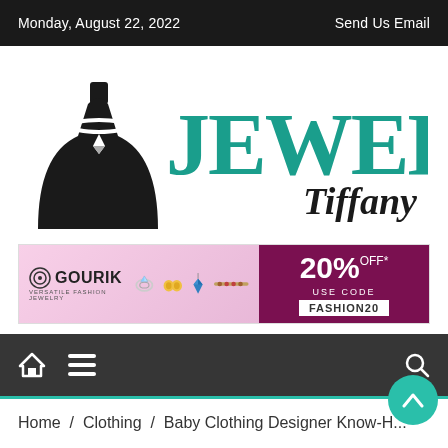Monday, August 22, 2022    Send Us Email
[Figure (logo): Jewelry Tiffany logo with black jewelry bust silhouette and teal JEWELRY text with Tiffany script subtitle]
[Figure (infographic): Gourik Versatile Fashion Jewelry advertisement banner with jewelry images and 20% OFF promotion using code FASHION20]
[Figure (other): Dark navigation bar with home icon, hamburger menu icon, and search icon, with teal bottom border]
Home / Clothing / Baby Clothing Designer Know-H...